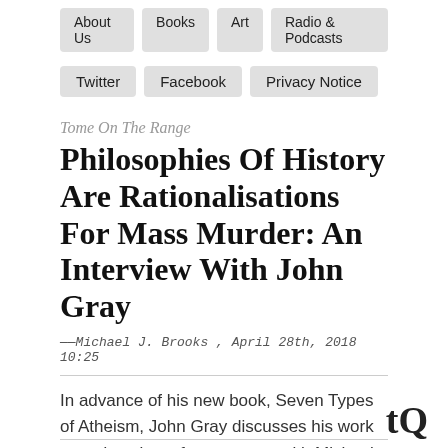About Us  Books  Art  Radio & Podcasts
Twitter
Facebook
Privacy Notice
Tome On The Range
Philosophies Of History Are Rationalisations For Mass Murder: An Interview With John Gray
— Michael J. Brooks , April 28th, 2018 10:25
In advance of his new book, Seven Types of Atheism, John Gray discusses his work  – and settles a few scores – with Michael Brooks, from the errors of Richard Dawkins to the pernicious bullshit of Steven Pinker